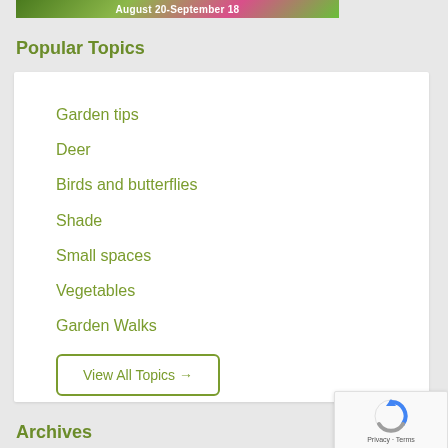[Figure (photo): Banner image with colorful flowers and text 'August 20-September 18' in white on a floral background]
Popular Topics
Garden tips
Deer
Birds and butterflies
Shade
Small spaces
Vegetables
Garden Walks
View All Topics →
[Figure (logo): reCAPTCHA widget with circular arrow icon and 'Privacy · Terms' text]
Archives